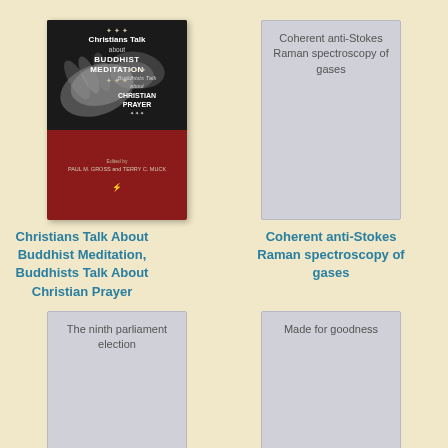[Figure (illustration): Book cover: Christians Talk About Buddhist Meditation, Buddhists Talk About Christian Prayer. Dark top half with hands imagery, red bottom half with editor names.]
Christians Talk About Buddhist Meditation, Buddhists Talk About Christian Prayer
[Figure (illustration): Placeholder book cover (gray) with text: Coherent anti-Stokes Raman spectroscopy of gases]
Coherent anti-Stokes Raman spectroscopy of gases
[Figure (illustration): Placeholder book cover (gray) with text: The ninth parliament election]
[Figure (illustration): Placeholder book cover (gray) with text: Made for goodness]